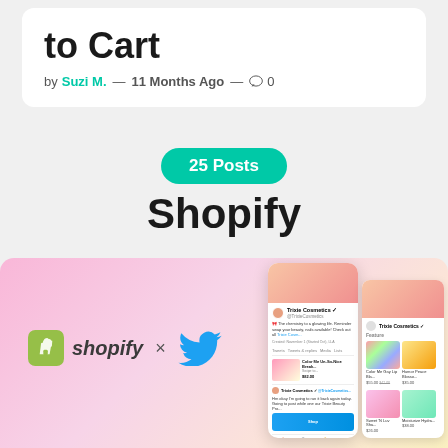to Cart
by Suzi M. — 11 Months Ago — 0
25 Posts
Shopify
[Figure (screenshot): Screenshot showing Shopify x Twitter integration with phone mockups displaying Trixie Cosmetics Twitter profile with shoppable products]